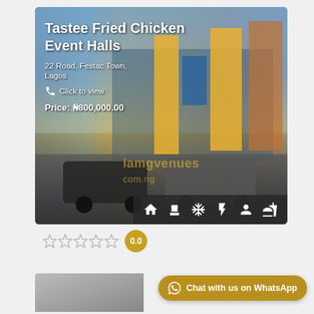[Figure (photo): Exterior photo of Tastee Fried Chicken Event Halls building with yellow pillars, blue facade, and cars parked in front. Overlaid with venue name, address, phone click-to-view, and price text.]
Tastee Fried Chicken Event Halls
22 Road, Festac Town, Lagos
Click to view
Price: ₦800,000.00
0.0
[Figure (photo): Partial thumbnail image at bottom left, grey/silver toned]
Chat with us on WhatsApp